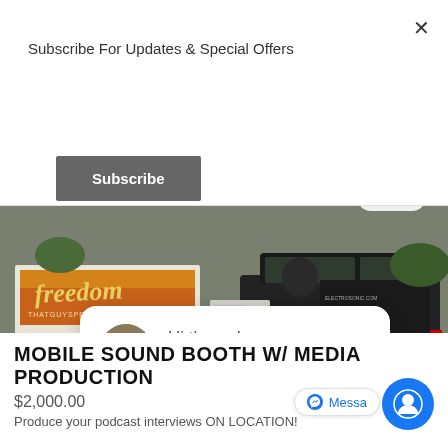Subscribe For Updates & Special Offers
Subscribe
[Figure (photo): A black SUV towing a white trailer with 'freedom' and 'THATGUYSPEAKS.CO' written on it, parked in a lot.]
close
Hi there, have a question? Text us here.
MOBILE SOUND BOOTH W/ MEDIA PRODUCTION
$2,000.00
Produce your podcast interviews ON LOCATION!
Messa